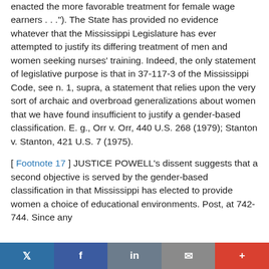enacted the more favorable treatment for female wage earners . . ."). The State has provided no evidence whatever that the Mississippi Legislature has ever attempted to justify its differing treatment of men and women seeking nurses' training. Indeed, the only statement of legislative purpose is that in 37-117-3 of the Mississippi Code, see n. 1, supra, a statement that relies upon the very sort of archaic and overbroad generalizations about women that we have found insufficient to justify a gender-based classification. E. g., Orr v. Orr, 440 U.S. 268 (1979); Stanton v. Stanton, 421 U.S. 7 (1975).
[ Footnote 17 ] JUSTICE POWELL's dissent suggests that a second objective is served by the gender-based classification in that Mississippi has elected to provide women a choice of educational environments. Post, at 742-744. Since any
Twitter | Facebook | LinkedIn | Email | +